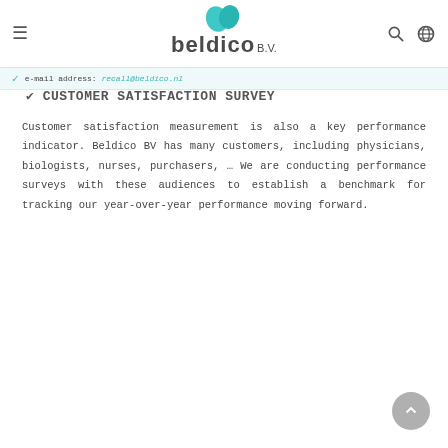beldico B.V. website header with hamburger menu, logo, search and globe icons
e-mail address: recall@beldico.nl
CUSTOMER SATISFACTION SURVEY
Customer satisfaction measurement is also a key performance indicator. Beldico BV has many customers, including physicians, biologists, nurses, purchasers, ... We are conducting performance surveys with these audiences to establish a benchmark for tracking our year-over-year performance moving forward.